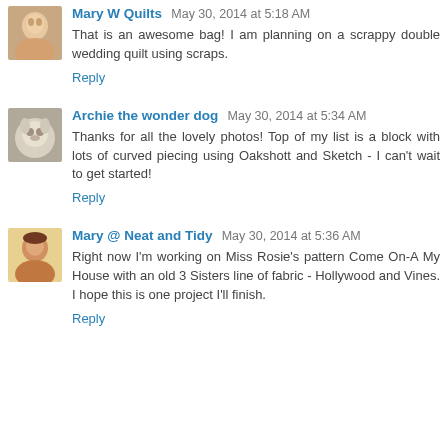Mary W Quilts May 30, 2014 at 5:18 AM
That is an awesome bag! I am planning on a scrappy double wedding quilt using scraps.
Reply
Archie the wonder dog May 30, 2014 at 5:34 AM
Thanks for all the lovely photos! Top of my list is a block with lots of curved piecing using Oakshott and Sketch - I can't wait to get started!
Reply
Mary @ Neat and Tidy May 30, 2014 at 5:36 AM
Right now I'm working on Miss Rosie's pattern Come On-A My House with an old 3 Sisters line of fabric - Hollywood and Vines. I hope this is one project I'll finish.
Reply